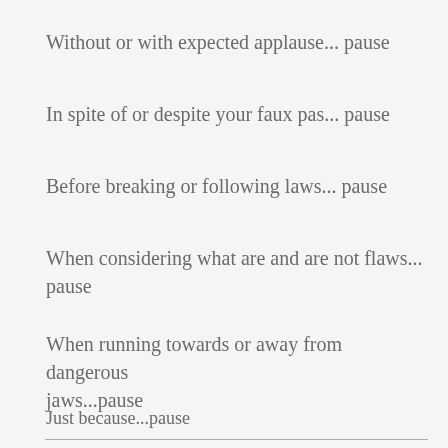Without or with expected applause... pause
In spite of or despite your faux pas... pause
Before breaking or following laws... pause
When considering what are and are not flaws... pause
When running towards or away from dangerous jaws...pause
Just because...pause
Without cause...pause